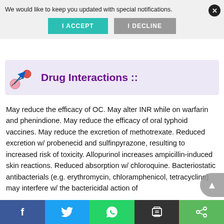We would like to keep you updated with special notifications.
I ACCEPT
I DECLINE
Drug Interactions ::
May reduce the efficacy of OC. May alter INR while on warfarin and phenindione. May reduce the efficacy of oral typhoid vaccines. May reduce the excretion of methotrexate. Reduced excretion w/ probenecid and sulfinpyrazone, resulting to increased risk of toxicity. Allopurinol increases ampicillin-induced skin reactions. Reduced absorption w/ chloroquine. Bacteriostatic antibacterials (e.g. erythromycin, chloramphenicol, tetracycline) may interfere w/ the bactericidal action of